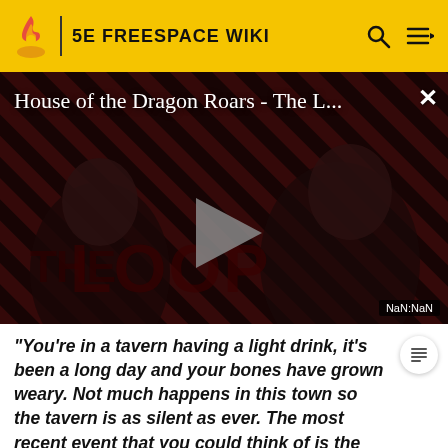5E FREESPACE WIKI
[Figure (screenshot): Video thumbnail for 'House of the Dragon Roars - The L...' showing dark figures against a red diagonal striped background with THE LOOP text, a play button in the center, and NaN:NaN timestamp label]
House of the Dragon Roars - The L...
"You're in a tavern having a light drink, it's been a long day and your bones have grown weary. Not much happens in this town so the tavern is as silent as ever. The most recent event that you could think of is the fact that a group of